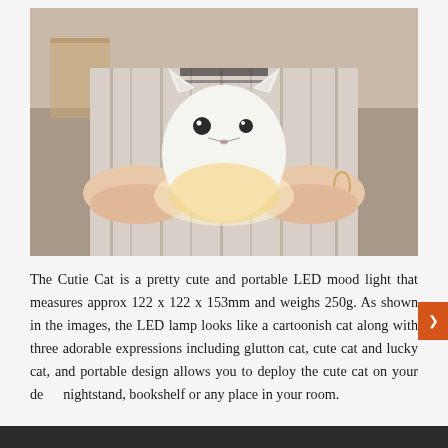[Figure (photo): A person holding a white glowing LED cat-shaped lamp (Cutie Cat) in both hands. The lamp is white silicone with a cartoonish cat face. The person is wearing a light gray/white striped dress.]
The Cutie Cat is a pretty cute and portable LED mood light that measures approx 122 x 122 x 153mm and weighs 250g. As shown in the images, the LED lamp looks like a cartoonish cat along with three adorable expressions including glutton cat, cute cat and lucky cat, and portable design allows you to deploy the cute cat on your desk, nightstand, bookshelf or any place in your room.